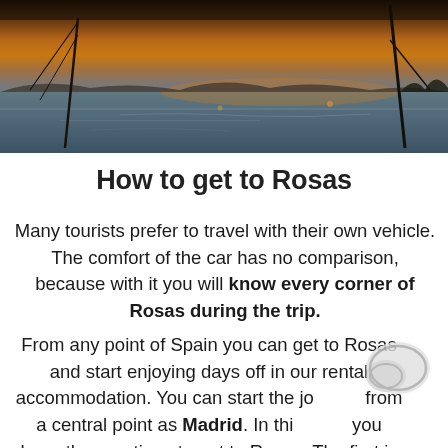[Figure (photo): Sunset or dusk waterscape with sailboat masts silhouetted against an orange-grey sky, water in foreground]
How to get to Rosas
Many tourists prefer to travel with their own vehicle. The comfort of the car has no comparison, because with it you will know every corner of Rosas during the trip.
From any point of Spain you can get to Rosas and start enjoying days off in our rental accommodation. You can start the journey from a central point as Madrid. In this case you have three options to get to Rosas. The first is to take the A-2 and link with the AP-2